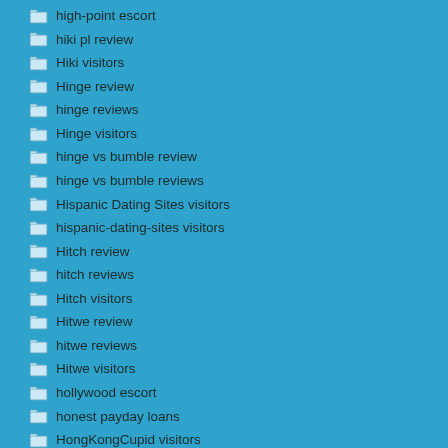high-point escort
hiki pl review
Hiki visitors
Hinge review
hinge reviews
Hinge visitors
hinge vs bumble review
hinge vs bumble reviews
Hispanic Dating Sites visitors
hispanic-dating-sites visitors
Hitch review
hitch reviews
Hitch visitors
Hitwe review
hitwe reviews
Hitwe visitors
hollywood escort
honest payday loans
HongKongCupid visitors
honolulu escort
honolulu escort index
hookup apps for couples
hookuphotties review
hookup apps for couples site